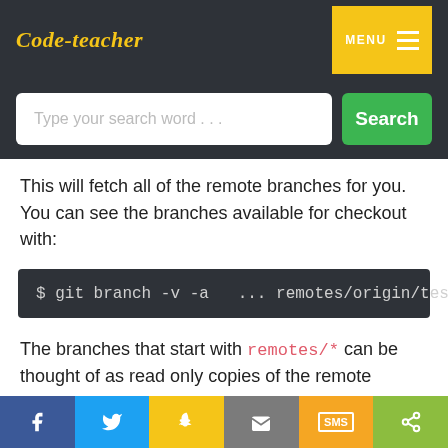Code-teacher
This will fetch all of the remote branches for you. You can see the branches available for checkout with:
The branches that start with remotes/* can be thought of as read only copies of the remote branches. To work on a branch you need to create a
Social share bar: Facebook, Twitter, Snapchat, Email, SMS, Share